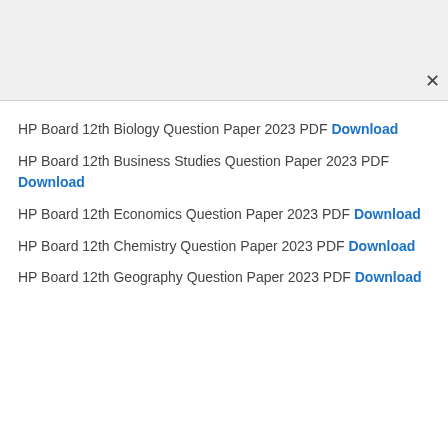HP Board 12th Biology Question Paper 2023 PDF Download
HP Board 12th Business Studies Question Paper 2023 PDF Download
HP Board 12th Economics Question Paper 2023 PDF Download
HP Board 12th Chemistry Question Paper 2023 PDF Download
HP Board 12th Geography Question Paper 2023 PDF Download